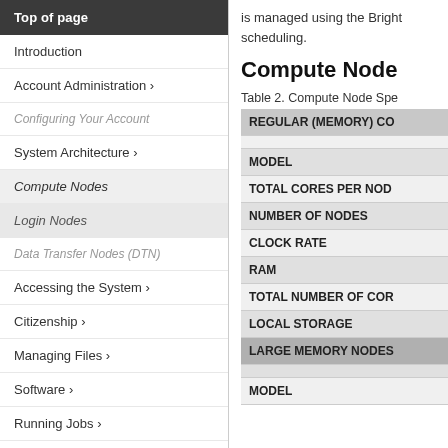Top of page
Introduction
Account Administration ›
Configuring Your Account
System Architecture ›
Compute Nodes
Login Nodes
Data Transfer Nodes (DTN)
Accessing the System ›
Citizenship ›
Managing Files ›
Software ›
Running Jobs ›
Sample Job Scripts ›
is managed using the Bright scheduling.
Compute Node
Table 2. Compute Node Specifications
| REGULAR (MEMORY) COMPUTE NODES |
| --- |
| MODEL |
| TOTAL CORES PER NODE |
| NUMBER OF NODES |
| CLOCK RATE |
| RAM |
| TOTAL NUMBER OF CORES |
| LOCAL STORAGE |
| LARGE MEMORY NODES |
| MODEL |